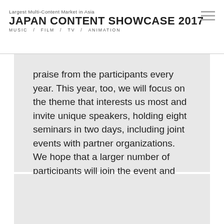Largest Multi-Content Market in Asia
JAPAN CONTENT SHOWCASE 2017
MUSIC / FILM / TV / ANIMATION
praise from the participants every year. This year, too, we will focus on the theme that interests us most and invite unique speakers, holding eight seminars in two days, including joint events with partner organizations. We hope that a larger number of participants will join the event and leverage it as a place to obtain ready-to-use hints for work as well as a platform to increase and widen their knowledge for the future. We look forward to your visit. See you at the venue!